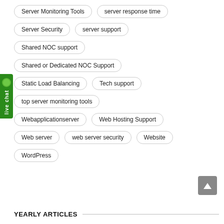Server Monitoring Tools
server response time
Server Security
server support
Shared NOC support
Shared or Dedicated NOC Support
Static Load Balancing
Tech support
top server monitoring tools
Webapplicationserver
Web Hosting Support
Web server
web server security
Website
WordPress
YEARLY ARTICLES